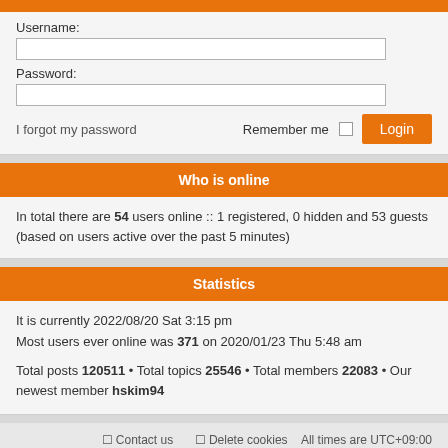[Figure (screenshot): Orange top bar header strip]
Username:
Password:
I forgot my password
Remember me
Who is online
In total there are 54 users online :: 1 registered, 0 hidden and 53 guests (based on users active over the past 5 minutes)
Statistics
It is currently 2022/08/20 Sat 3:15 pm
Most users ever online was 371 on 2020/01/23 Thu 5:48 am

Total posts 120511 • Total topics 25546 • Total members 22083 • Our newest member hskim94
Contact us   Delete cookies   All times are UTC+09:00
Powered by phpBB® Forum Software © phpBB Limited
Style proflat © 2017 Mazeltof